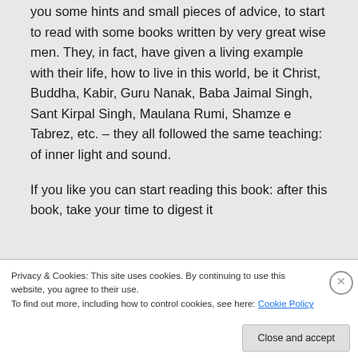you some hints and small pieces of advice, to start to read with some books written by very great wise men. They, in fact, have given a living example with their life, how to live in this world, be it Christ, Buddha, Kabir, Guru Nanak, Baba Jaimal Singh, Sant Kirpal Singh, Maulana Rumi, Shamze e Tabrez, etc. – they all followed the same teaching: of inner light and sound.

If you like you can start reading this book: after this book, take your time to digest it
Privacy & Cookies: This site uses cookies. By continuing to use this website, you agree to their use.
To find out more, including how to control cookies, see here: Cookie Policy